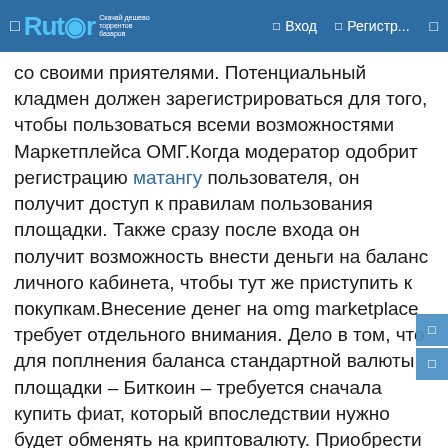Rutor — Вход — Регистр...
со своими приятелями. Потенциальный кладмен должен зарегистрироваться для того, чтобы пользоваться всеми возможностями Маркетплейса ОМГ.Когда модератор одобрит регистрацию матангу пользователя, он получит доступ к правилам пользования площадки. Также сразу после входа он получит возможность внести деньги на баланс личного кабинета, чтобы тут же приступить к покупкам.Внесение денег на omg marketplace требует отдельного внимания. Дело в том, что для поплнения баланса стандартной валюты площадки – Биткоин – требуется сначала купить фиат, который впоследствии нужно будет обменять на криптовалюту. Приобрести его можно либо на криптовалютной бирже, либо в специальном пункте обмена.Когда фиат будет приобретен и обменен на определенное количество ВТС, останется перевести их в систему. Чтобы это совершить, нужно скопировать адрес биткоин кошелька, который был выдан при регистрации, и отправить на него требуемую сумму с помощью использования различных платежных систем (например, КИВИ). Также обменять рубли на биткоин можно на самой